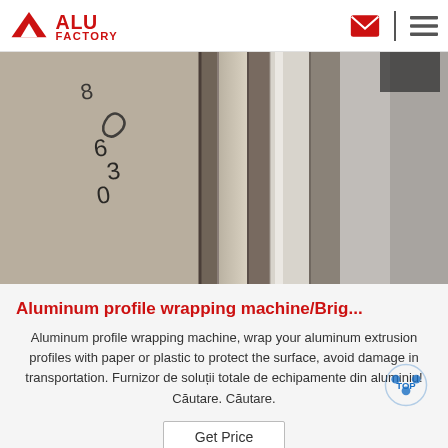ALU FACTORY
[Figure (photo): Industrial aluminum extrusion profiles wrapped in protective film/paper, showing metallic and matte surfaces with handwritten markings including numbers like '630' visible on the wrapping]
Aluminum profile wrapping machine/Brig...
Aluminum profile wrapping machine, wrap your aluminum extrusion profiles with paper or plastic to protect the surface, avoid damage in transportation. Furnizor de soluții totale de echipamente din aluminiu! Căutare. Căutare.
Get Price